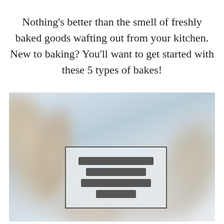Nothing's better than the smell of freshly baked goods wafting out from your kitchen. New to baking? You'll want to get started with these 5 types of bakes!
[Figure (photo): A blurry/out-of-focus photo of baking utensils (whisks or wooden spoons) on a light background, with a small overlay box containing blurred text in the center of the image.]